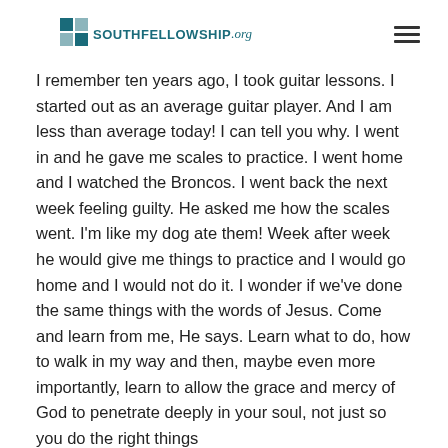SOUTHFELLOWSHIP.org
I remember ten years ago, I took guitar lessons. I started out as an average guitar player. And I am less than average today! I can tell you why. I went in and he gave me scales to practice. I went home and I watched the Broncos. I went back the next week feeling guilty. He asked me how the scales went. I'm like my dog ate them! Week after week he would give me things to practice and I would go home and I would not do it. I wonder if we've done the same things with the words of Jesus. Come and learn from me, He says. Learn what to do, how to walk in my way and then, maybe even more importantly, learn to allow the grace and mercy of God to penetrate deeply in your soul, not just so you do the right things